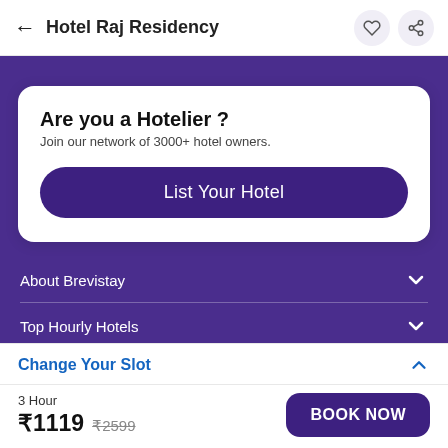← Hotel Raj Residency
Are you a Hotelier ?
Join our network of 3000+ hotel owners.
List Your Hotel
About Brevistay
Top Hourly Hotels
Change Your Slot
3 Hour
₹1119  ₹2599
BOOK NOW